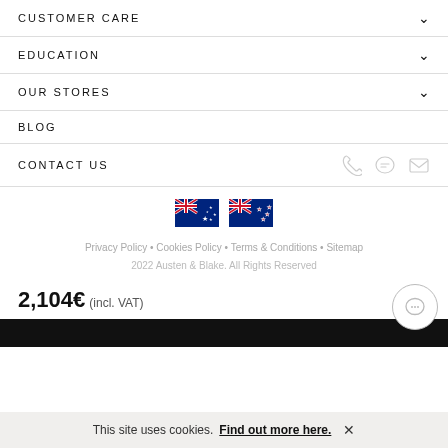CUSTOMER CARE
EDUCATION
OUR STORES
BLOG
CONTACT US
[Figure (illustration): Two Australian/New Zealand flags side by side]
Privacy Policy • Cookies Policy • Terms & Conditions • Sitemap
2022 Austen & Blake. All Rights Reserved
2,104€ (incl. VAT)
This site uses cookies. Find out more here.